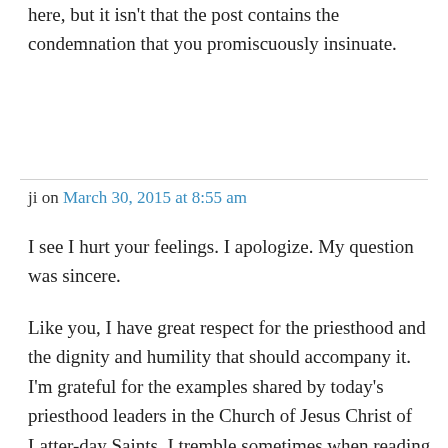here, but it isn't that the post contains the condemnation that you promiscuously insinuate.
ji on March 30, 2015 at 8:55 am
I see I hurt your feelings. I apologize. My question was sincere.

Like you, I have great respect for the priesthood and the dignity and humility that should accompany it. I'm grateful for the examples shared by today's priesthood leaders in the Church of Jesus Christ of Latter-day Saints. I tremble sometimes when reading Matthew ch. 23 as a caution to all those who take on the Lord's name. Anyway, we're creating Zion and letting everyone else determine their own...